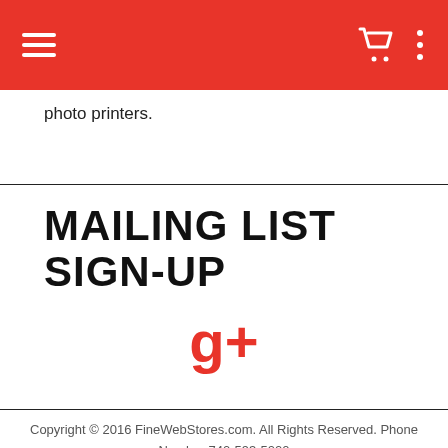Navigation bar with hamburger menu, cart icon, and vertical dots menu
photo printers.
MAILING LIST SIGN-UP
[Figure (logo): Google Plus (G+) icon in red]
Copyright © 2016 FineWebStores.com. All Rights Reserved. Phone Number 740-593-5000
Terms and Conditions   Privacy Policy   About Us
Mattress Size Chart   View Cart   Fabric Swatch Library (JS)